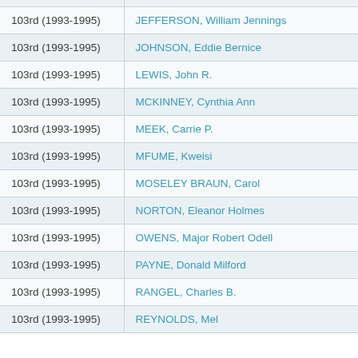| Congress | Name |
| --- | --- |
| 103rd (1993-1995) | JEFFERSON, William Jennings |
| 103rd (1993-1995) | JOHNSON, Eddie Bernice |
| 103rd (1993-1995) | LEWIS, John R. |
| 103rd (1993-1995) | MCKINNEY, Cynthia Ann |
| 103rd (1993-1995) | MEEK, Carrie P. |
| 103rd (1993-1995) | MFUME, Kweisi |
| 103rd (1993-1995) | MOSELEY BRAUN, Carol |
| 103rd (1993-1995) | NORTON, Eleanor Holmes |
| 103rd (1993-1995) | OWENS, Major Robert Odell |
| 103rd (1993-1995) | PAYNE, Donald Milford |
| 103rd (1993-1995) | RANGEL, Charles B. |
| 103rd (1993-1995) | REYNOLDS, Mel |